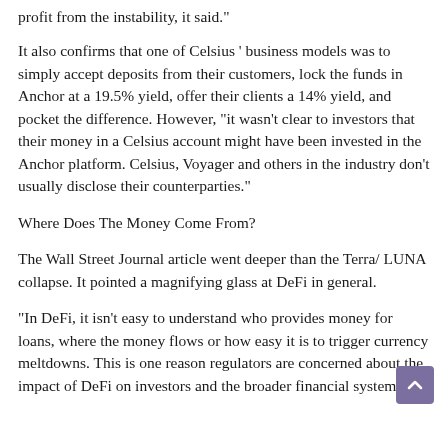profit from the instability, it said."
It also confirms that one of Celsius ' business models was to simply accept deposits from their customers, lock the funds in Anchor at a 19.5% yield, offer their clients a 14% yield, and pocket the difference. However, "it wasn't clear to investors that their money in a Celsius account might have been invested in the Anchor platform. Celsius, Voyager and others in the industry don't usually disclose their counterparties."
Where Does The Money Come From?
The Wall Street Journal article went deeper than the Terra/ LUNA collapse. It pointed a magnifying glass at DeFi in general.
"In DeFi, it isn't easy to understand who provides money for loans, where the money flows or how easy it is to trigger currency meltdowns. This is one reason regulators are concerned about the impact of DeFi on investors and the broader financial system."